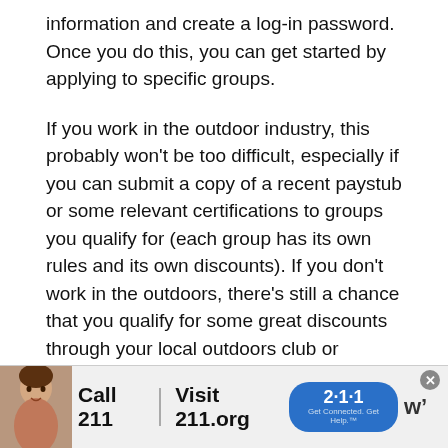information and create a log-in password. Once you do this, you can get started by applying to specific groups.
If you work in the outdoor industry, this probably won't be too difficult, especially if you can submit a copy of a recent paystub or some relevant certifications to groups you qualify for (each group has its own rules and its own discounts). If you don't work in the outdoors, there's still a chance that you qualify for some great discounts through your local outdoors club or organization.
Additionally, groups of people that might not tra[obscured by ad]m
[Figure (infographic): Advertisement banner for '211' service: child photo on left, bold text 'Call 211 | Visit 211.org' with a blue oval badge showing '2·1·1', and a logo on the right. Close button (X) in upper right corner.]